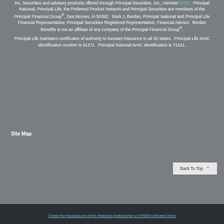Inc. Securities and advisory products offered through Principal Securities, Inc., member SIPC. Principal National, Principal Life, the Preferred Product Network and Principal Securities are members of the Principal Financial Group®, Des Moines, IA 50392. Mark J. Berdan, Principal National and Principal Life Financial Representative, Principal Securities Registered Representative, Financial Advisor. Berdan Benefits is not an affiliate of any company of the Principal Financial Group®.
Principal Life maintains certificates of authority to transact insurance in all 50 states. Principal Life NAIC identification number is 61271. Principal National NAIC identification is 71161.
Site Map
Check the background of this financial professional on FINRA's BrokerCheck